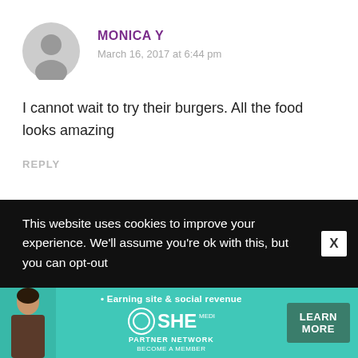MONICA Y
March 16, 2017 at 6:44 pm
I cannot wait to try their burgers. All the food looks amazing
REPLY
This website uses cookies to improve your experience. We'll assume you're ok with this, but you can opt-out
[Figure (infographic): SHE Media Partner Network advertisement banner with a woman, tagline 'Earning site & social revenue', SHE logo, PARTNER NETWORK, BECOME A MEMBER text, and a LEARN MORE button on teal background]